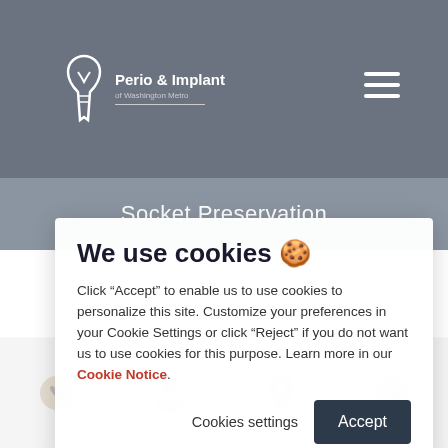Perio & Implant of Washington Metro
Socket Preservation
Socket preservation is a bone grafting procedure a dentist must completes after a tooth extraction. This involves packing bone graft material and local the elastic membrane of the socket. Doing it can also help preserve the health of the bone until a dental implant can be...
We use cookies 🍪
Click “Accept” to enable us to use cookies to personalize this site. Customize your preferences in your Cookie Settings or click “Reject” if you do not want us to use cookies for this purpose. Learn more in our Cookie Notice.
Cookies settings
Accept